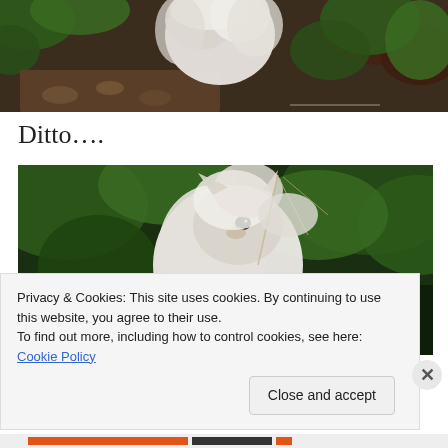[Figure (photo): Top cropped photo of a fluffy white/grey cat outdoors among green plants, with watermark text 'ThreeCatYard.wordpress.com' in lower right corner]
Ditto….
[Figure (photo): Photo of a fluffy white/grey cat playing with a long grass stalk outdoors, surrounded by green leaves and plants. Part of another cat (dark striped) visible at bottom left.]
Privacy & Cookies: This site uses cookies. By continuing to use this website, you agree to their use.
To find out more, including how to control cookies, see here: Cookie Policy
Close and accept